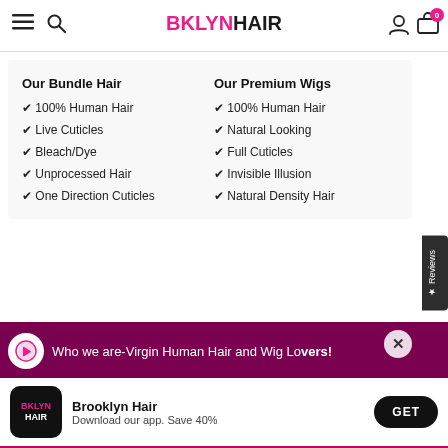BKLYNHAIR
Our Bundle Hair
✔ 100% Human Hair
✔ Live Cuticles
✔ Bleach/Dye
✔ Unprocessed Hair
✔ One Direction Cuticles
Our Premium Wigs
✔ 100% Human Hair
✔ Natural Looking
✔ Full Cuticles
✔ Invisible Illusion
✔ Natural Density Hair
Who we are-Virgin Human Hair and Wig Lovers!
Brooklyn Hair
Download our app. Save 40%
GET
in Brooklyn